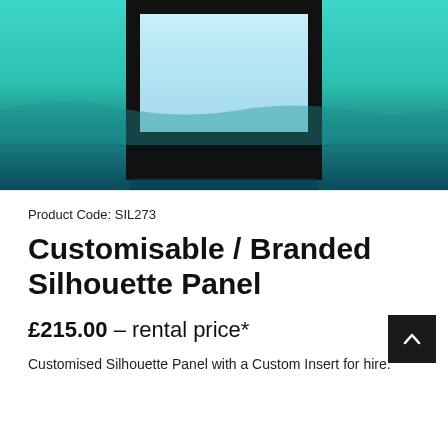[Figure (photo): Product photo showing a large black-framed square display panel/silhouette panel against a teal/turquoise background, with a light blue/white illuminated rectangular insert visible in the upper portion of the frame.]
Product Code: SIL273
Customisable / Branded Silhouette Panel
£215.00 – rental price*
Customised Silhouette Panel with a Custom Insert for hire.